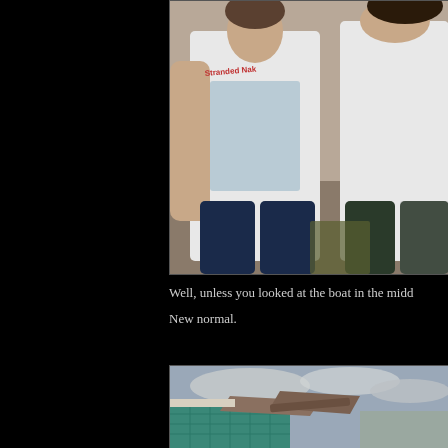[Figure (photo): Two people standing together outdoors. The person on the left wears a white tank top with 'Stranded Nak...' graphic. The person on the right wears a plain white tank top and shorts. Background shows some vegetation and rubble.]
Well, unless you looked at the boat in the midd
New normal.
[Figure (photo): A damaged building with a teal/green exterior wall and a collapsed or damaged roof section. Cloudy grey sky in the background.]